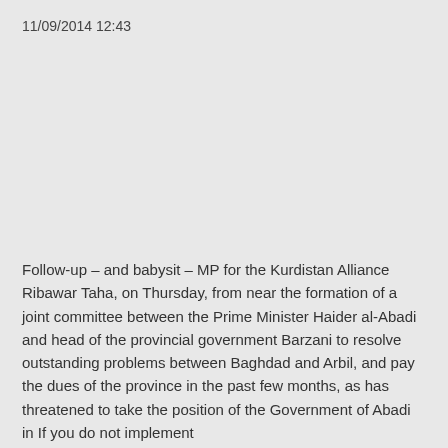11/09/2014 12:43
Follow-up – and babysit – MP for the Kurdistan Alliance Ribawar Taha, on Thursday, from near the formation of a joint committee between the Prime Minister Haider al-Abadi and head of the provincial government Barzani to resolve outstanding problems between Baghdad and Arbil, and pay the dues of the province in the past few months, as has threatened to take the position of the Government of Abadi in If you do not implement